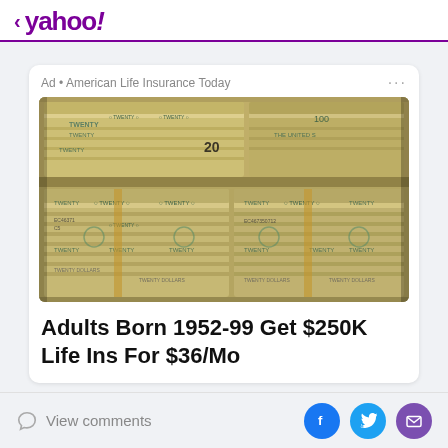< yahoo!
Ad • American Life Insurance Today
[Figure (photo): Stacks of bundled US dollar bills ($20 and $100 bills) piled on top of each other, tinted with a warm golden tone]
Adults Born 1952-99 Get $250K Life Ins For $36/Mo
View comments